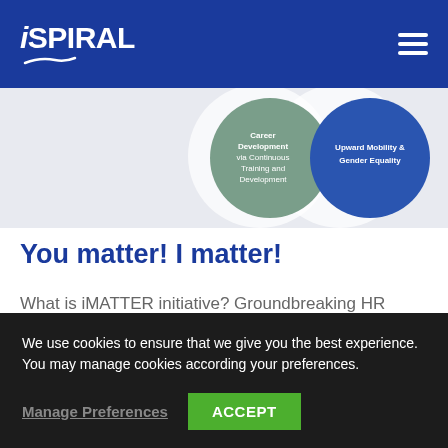iSPIRAL
[Figure (infographic): Partial view of a diagram showing two overlapping circles: one sage/olive green circle labeled 'Career Development via Continuous Training and Development' and one blue circle labeled 'Upward Mobility & Gender Equality', on a light gray background.]
You matter! I matter!
What is iMATTER initiative? Groundbreaking HR Policy creates groundbreaking innovation Since the founding
We use cookies to ensure that we give you the best experience. You may manage cookies according your preferences.
Manage Preferences
ACCEPT